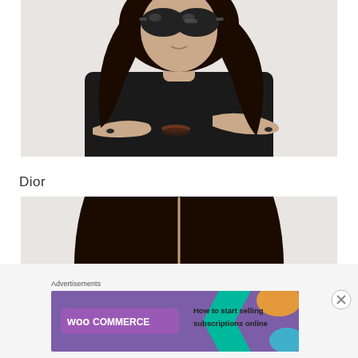[Figure (photo): A woman wearing large round dark sunglasses, black long-sleeve shirt with arms crossed, long dark wavy hair, bracelets on wrist, against white background. Photo cropped at top showing just below crown of head.]
Dior
[Figure (photo): Top portion of a woman's head with straight dark hair parted in the middle, eyes partially visible, looking toward camera, against white background.]
Advertisements
[Figure (screenshot): WooCommerce advertisement banner. Purple and teal background with WooCommerce logo on left and text reading 'How to start selling subscriptions online' on right, with orange and blue decorative elements.]